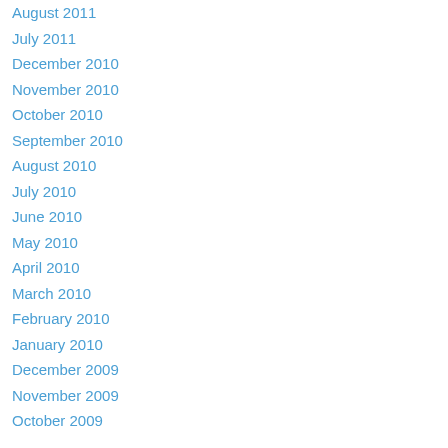August 2011
July 2011
December 2010
November 2010
October 2010
September 2010
August 2010
July 2010
June 2010
May 2010
April 2010
March 2010
February 2010
January 2010
December 2009
November 2009
October 2009
Categories
All
Subscribe: